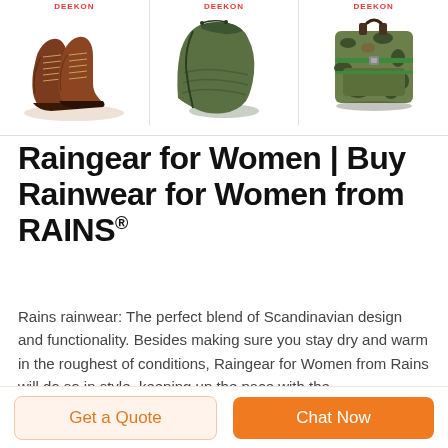[Figure (photo): Three product images in a row: brown leather hiking boots (left), olive green sleeping bag (center), camouflage military pack/bag (right), each with a red DEEKON brand label at the top.]
Raingear for Women | Buy Rainwear for Women from RAINS®
Rains rainwear: The perfect blend of Scandinavian design and functionality. Besides making sure you stay dry and warm in the roughest of conditions, Raingear for Women from Rains will do so in style, keeping up the pace with the
Get a Quote
Chat Now